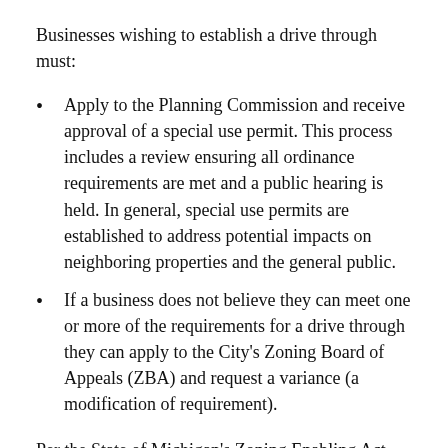Businesses wishing to establish a drive through must:
Apply to the Planning Commission and receive approval of a special use permit. This process includes a review ensuring all ordinance requirements are met and a public hearing is held. In general, special use permits are established to address potential impacts on neighboring properties and the general public.
If a business does not believe they can meet one or more of the requirements for a drive through they can apply to the City's Zoning Board of Appeals (ZBA) and request a variance (a modification of requirement).
Per the State of Michigan's Zoning Enabling Act, the ZBA acts as a quasi-judicial body reviewing local zoning ordinance cases. The ZBA is a separate entity